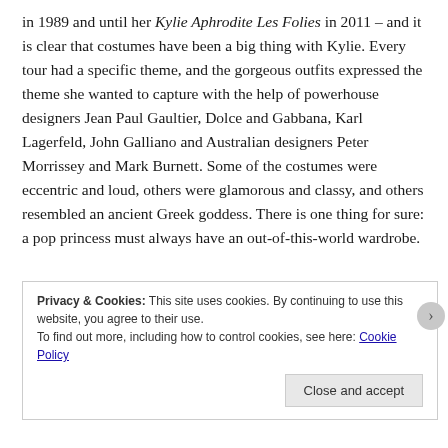in 1989 and until her Kylie Aphrodite Les Folies in 2011 – and it is clear that costumes have been a big thing with Kylie. Every tour had a specific theme, and the gorgeous outfits expressed the theme she wanted to capture with the help of powerhouse designers Jean Paul Gaultier, Dolce and Gabbana, Karl Lagerfeld, John Galliano and Australian designers Peter Morrissey and Mark Burnett. Some of the costumes were eccentric and loud, others were glamorous and classy, and others resembled an ancient Greek goddess. There is one thing for sure: a pop princess must always have an out-of-this-world wardrobe.
Privacy & Cookies: This site uses cookies. By continuing to use this website, you agree to their use.
To find out more, including how to control cookies, see here: Cookie Policy
Close and accept